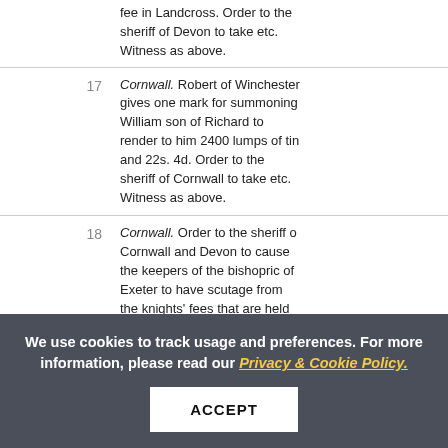fee in Landcross. Order to the sheriff of Devon to take etc. Witness as above.
17 — Cornwall. Robert of Winchester gives one mark for summoning William son of Richard to render to him 2400 lumps of tin and 22s. 4d. Order to the sheriff of Cornwall to take etc. Witness as above.
18 — Cornwall. Order to the sheriff of Cornwall and Devon to cause the keepers of the bishopric of Exeter to have scutage from the knights' fees that are held of the aforesaid bishopric, 1 ...
We use cookies to track usage and preferences. For more information, please read our Privacy & Cookie Policy.